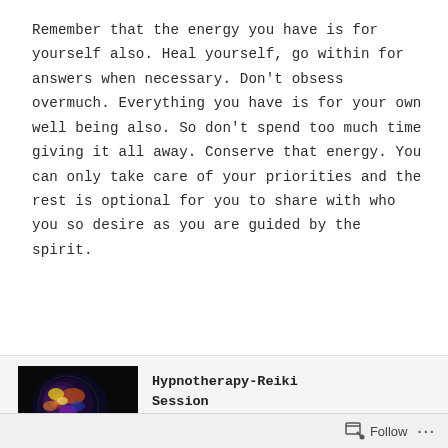Remember that the energy you have is for yourself also. Heal yourself, go within for answers when necessary. Don't obsess overmuch. Everything you have is for your own well being also. So don't spend too much time giving it all away. Conserve that energy. You can only take care of your priorities and the rest is optional for you to share with who you so desire as you are guided by the spirit.
[Figure (photo): Dark image of a stylized human head profile with a glowing, colorful galaxy/brain illustration inside the skull on a black background]
Hypnotherapy-Reiki Session
Follow ...